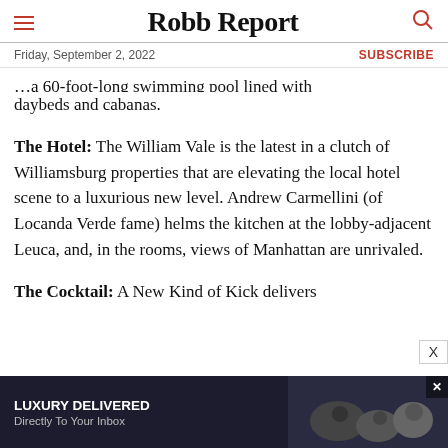Robb Report
Friday, September 2, 2022
SUBSCRIBE
daybeds and cabanas.
The Hotel: The William Vale is the latest in a clutch of Williamsburg properties that are elevating the local hotel scene to a luxurious new level. Andrew Carmellini (of Locanda Verde fame) helms the kitchen at the lobby-adjacent Leuca, and, in the rooms, views of Manhattan are unrivaled.
The Cocktail: A New Kind of Kick delivers
[Figure (other): Advertisement banner: LUXURY DELIVERED / Directly To Your Inbox with dark background and food/drink imagery]